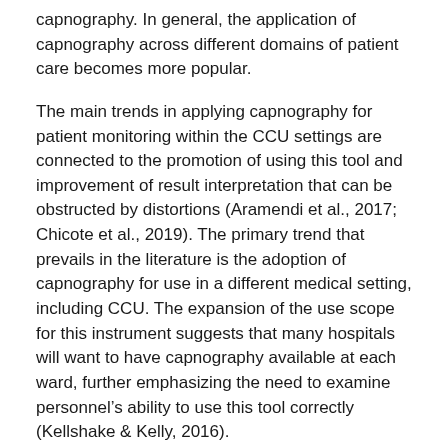capnography. In general, the application of capnography across different domains of patient care becomes more popular.
The main trends in applying capnography for patient monitoring within the CCU settings are connected to the promotion of using this tool and improvement of result interpretation that can be obstructed by distortions (Aramendi et al., 2017; Chicote et al., 2019). The primary trend that prevails in the literature is the adoption of capnography for use in a different medical setting, including CCU. The expansion of the use scope for this instrument suggests that many hospitals will want to have capnography available at each ward, further emphasizing the need to examine personnel's ability to use this tool correctly (Kellshake & Kelly, 2016).
In addition, many researchers develop specific algorithms, including computer programs that help enhance the result interpretation or automate the process of monitoring using